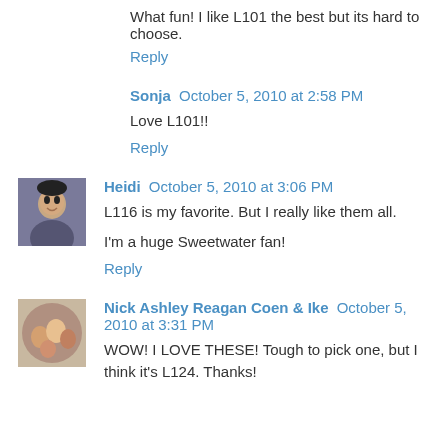What fun! I like L101 the best but its hard to choose.
Reply
Sonja October 5, 2010 at 2:58 PM
Love L101!!
Reply
Heidi October 5, 2010 at 3:06 PM
L116 is my favorite. But I really like them all.
I'm a huge Sweetwater fan!
Reply
Nick Ashley Reagan Coen & Ike October 5, 2010 at 3:31 PM
WOW! I LOVE THESE! Tough to pick one, but I think it's L124. Thanks!